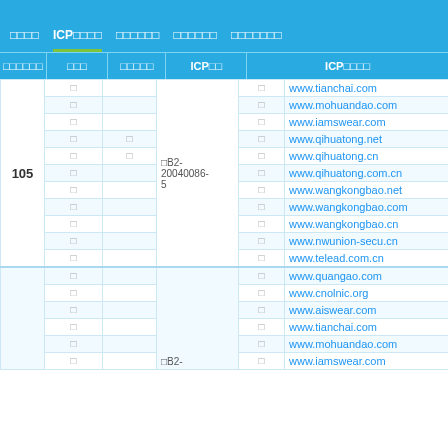ICP备案 | 备案主体信息 | 网站/应用信息 | ICP备案号 | ICP备案域名
| 序号/主办单位名称 | 网站名称 | 网站首页网址 | ICP备案号 | ICP备案域名 |
| --- | --- | --- | --- | --- |
| 105 | □ | □ | □B2-20040086-5 | □ | www.tianchai.com |
|  | □ |  |  | □ | www.mohuandao.com |
|  | □ |  |  | □ | www.iamswear.com |
|  | □ | □ |  | □ | www.qihuatong.net |
|  | □ | □ |  | □ | www.qihuatong.cn |
|  | □ |  |  | □ | www.qihuatong.com.cn |
|  | □ |  |  | □ | www.wangkongbao.net |
|  | □ |  |  | □ | www.wangkongbao.com |
|  | □ |  |  | □ | www.wangkongbao.cn |
|  | □ |  |  | □ | www.nwunion-secu.cn |
|  | □ |  |  | □ | www.telead.com.cn |
|  | □ |  |  | □ | www.quangao.com |
|  | □ |  |  | □ | www.cnolnic.org |
|  | □ |  |  | □ | www.aiswear.com |
|  | □ |  |  | □ | www.tianchai.com |
|  | □ |  |  | □ | www.mohuandao.com |
|  | □ |  |  | □ | www.iamswear.com |